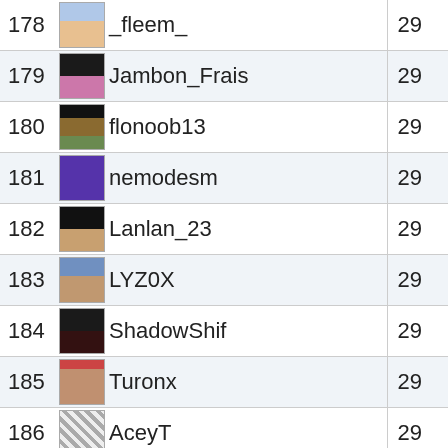| Rank | Avatar | Name | Score |
| --- | --- | --- | --- |
| 178 |  | _fleem_ | 29 |
| 179 |  | Jambon_Frais | 29 |
| 180 |  | flonoob13 | 29 |
| 181 |  | nemodesm | 29 |
| 182 |  | Lanlan_23 | 29 |
| 183 |  | LYZ0X | 29 |
| 184 |  | ShadowShif | 29 |
| 185 |  | Turonx | 29 |
| 186 |  | AceyT | 29 |
| 187 |  | wewevava29 | 29 |
| 188 |  | Lund3 | 29 |
| 189 |  | zarkas_ | 29 |
| 190 |  | Camellyah | 29 |